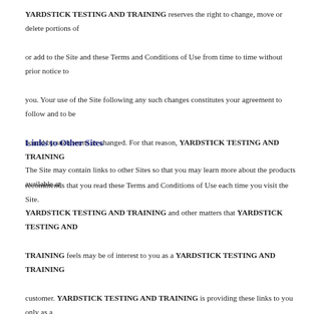YARDSTICK TESTING AND TRAINING reserves the right to change, move or delete portions of or add to the Site and these Terms and Conditions of Use from time to time without prior notice to you. Your use of the Site following any such changes constitutes your agreement to follow and to be bound by such terms as changed. For that reason, YARDSTICK TESTING AND TRAINING recommends that you read these Terms and Conditions of Use each time you visit the Site.
Links to Other Sites
The Site may contain links to other Sites so that you may learn more about the products available at YARDSTICK TESTING AND TRAINING and other matters that YARDSTICK TESTING AND TRAINING feels may be of interest to you as a YARDSTICK TESTING AND TRAINING customer. YARDSTICK TESTING AND TRAINING is providing these links to you only as a convenience, and the inclusion of any link does not imply endorsement by YARDSTICK TESTING AND TRAINING of the site or any association with its operators. While YARDSTICK TESTING AND TRAINING will make every effort to ensure that the Site will not expose you to...